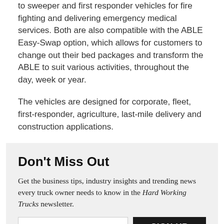to sweeper and first responder vehicles for fire fighting and delivering emergency medical services. Both are also compatible with the ABLE Easy-Swap option, which allows for customers to change out their bed packages and transform the ABLE to suit various activities, throughout the day, week or year.
The vehicles are designed for corporate, fleet, first-responder, agriculture, last-mile delivery and construction applications.
Don't Miss Out
Get the business tips, industry insights and trending news every truck owner needs to know in the Hard Working Trucks newsletter.